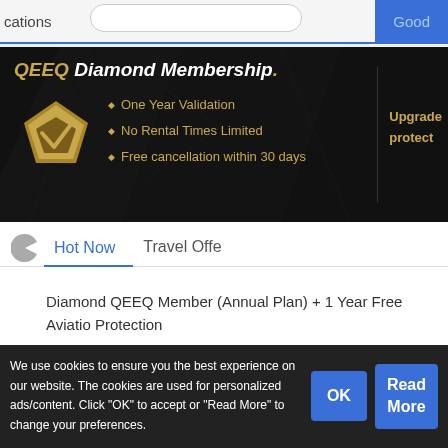cations   Review   Good
[Figure (screenshot): QEEQ Diamond Membership banner on dark background with gold diamond icon and bullet points: One Year Validation, No Rental Times Limited, Free cancellation within 30 days. Right side shows 'Upgrade protect' text.]
Hot Now
Travel Offe
Diamond QEEQ Member (Annual Plan) + 1 Year Free Aviation Protection
We use cookies to ensure you the best experience on our website. The cookies are used for personalized ads/content. Click "OK" to accept or "Read More" to change your preferences.